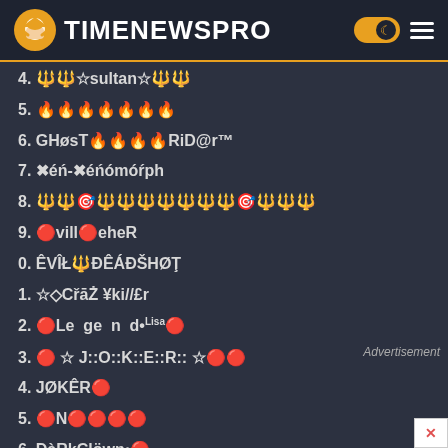TIMENEWSPRO
4. 🔱🔱☆sultan☆🔱🔱
5. 🔥🔥🔥🔥🔥🔥🔥
6. GHøsT🔥🔥🔥🔥RiD@r™
7. ✖éń-✖éńómóŕph
8. 🔱🔱🎯🔱🔱🔱🔱🔱🔱🔱🎯🔱🔱🔱
9. 🔴vill🔴eheR
0. ÊVÎŁ🔱ÐÊÁÐŠHØŢ
1. ☆◇CřāŻ ¥ki//£r
2. 🔴Le  ge  n  d•Lisa🔴
3. 🔴 ☆ J::O::K::E::R:: ☆🔴🔴
4. JØKÊR🔴
5. 🔴N🔴🔴🔴🔴
6. ÐàRkÇlöwn•🔴